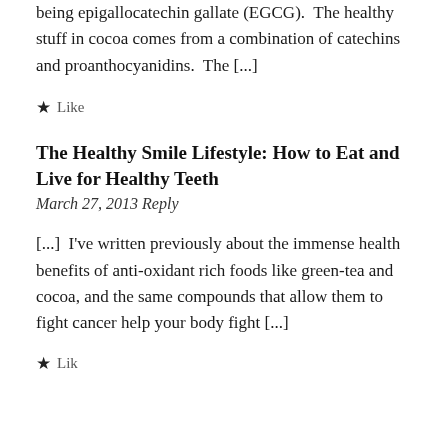being epigallocatechin gallate (EGCG).  The healthy stuff in cocoa comes from a combination of catechins and proanthocyanidins.  The [...]
★ Like
The Healthy Smile Lifestyle: How to Eat and Live for Healthy Teeth
March 27, 2013 Reply
[...]  I've written previously about the immense health benefits of anti-oxidant rich foods like green-tea and cocoa, and the same compounds that allow them to fight cancer help your body fight [...]
★ Like